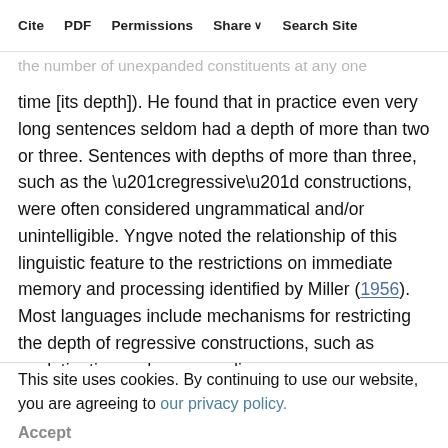Cite  PDF  Permissions  Share  Search Site
temporary monograph to produce a sentence, i.e. the number of unexpanded constituents at any one time [its depth]). He found that in practice even very long sentences seldom had a depth of more than two or three. Sentences with depths of more than three, such as the “regressive” constructions, were often considered ungrammatical and/or unintelligible. Yngve noted the relationship of this linguistic feature to the restrictions on immediate memory and processing identified by Miller (1956). Most languages include mechanisms for restricting the depth of regressive constructions, such as agglutination and compounding.
This site uses cookies. By continuing to use our website, you are agreeing to our privacy policy. Accept